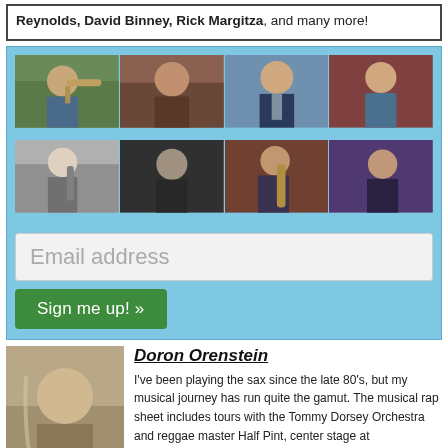Reynolds, David Binney, Rick Margitza, and many more!
[Figure (photo): Grid of 8 musician headshots in 2 rows of 4]
Email address
Sign me up! »
[Figure (photo): Profile photo of Doron Orenstein, man smiling with saxophone visible]
Doron Orenstein
I've been playing the sax since the late 80's, but my musical journey has run quite the gamut. The musical rap sheet includes tours with the Tommy Dorsey Orchestra and reggae master Half Pint, center stage at